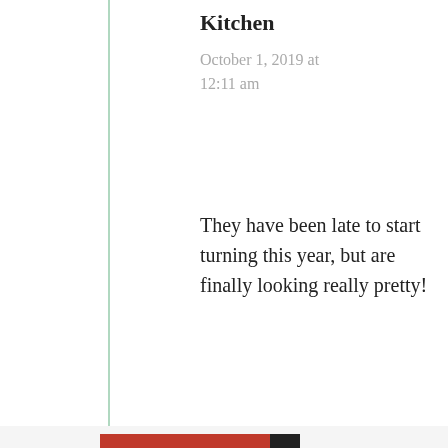Kitchen
October 1, 2019 at 12:11 am
They have been late to start turning this year, but are finally looking really pretty!
★ Like
↳ Reply
Privacy & Cookies: This site uses cookies. By continuing to use this website, you agree to their use. To find out more, including how to control cookies, see here: Cookie Policy
Close and accept